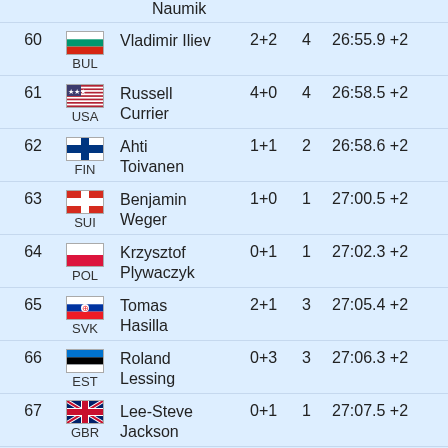| Rank | Country | Name | Shots | Pen | Time |
| --- | --- | --- | --- | --- | --- |
| 60 | BUL | Vladimir Iliev | 2+2 | 4 | 26:55.9 +2 |
| 61 | USA | Russell Currier | 4+0 | 4 | 26:58.5 +2 |
| 62 | FIN | Ahti Toivanen | 1+1 | 2 | 26:58.6 +2 |
| 63 | SUI | Benjamin Weger | 1+0 | 1 | 27:00.5 +2 |
| 64 | POL | Krzysztof Plywaczyk | 0+1 | 1 | 27:02.3 +2 |
| 65 | SVK | Tomas Hasilla | 2+1 | 3 | 27:05.4 +2 |
| 66 | EST | Roland Lessing | 0+3 | 3 | 27:06.3 +2 |
| 67 | GBR | Lee-Steve Jackson | 0+1 | 1 | 27:07.5 +2 |
| 68 | SVK | Martin Otcenas | 1+2 | 3 | 27:07.8 +2 |
| 69 | SRB | Milanko Petrovic | 1+2 | 3 | 27:08.2 +2 |